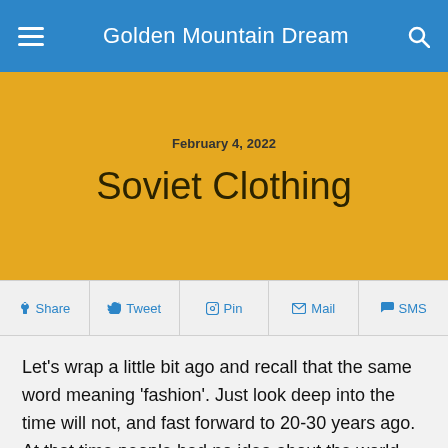Golden Mountain Dream
February 4, 2022
Soviet Clothing
Share  Tweet  Pin  Mail  SMS
Let’s wrap a little bit ago and recall that the same word meaning ‘fashion’. Just look deep into the time will not, and fast forward to 20-30 years ago. At that time people had no idea about the world famous shopping brands such as levi’s and others. However, not that of the world’s top brands, but in general fashion have a rather vague idea. Considering the fact